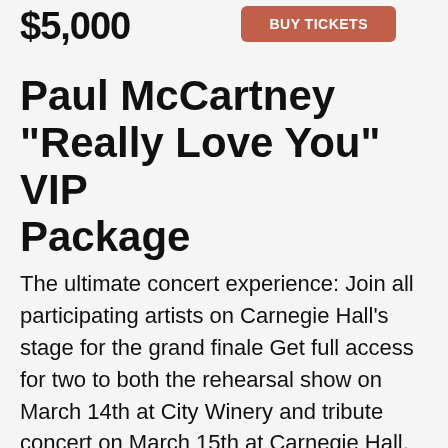$5,000
BUY TICKETS
Paul McCartney "Really Love You" VIP Package
The ultimate concert experience: Join all participating artists on Carnegie Hall’s stage for the grand finale Get full access for two to both the rehearsal show on March 14th at City Winery and tribute concert on March 15th at Carnegie Hall. This includes a pair of tickets to the exclusive 5-course dinner party with participating artists and fellow VIPs at City Winery on rehearsal night (March 15th).